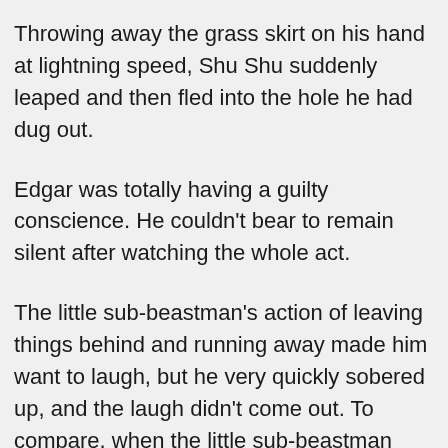Throwing away the grass skirt on his hand at lightning speed, Shu Shu suddenly leaped and then fled into the hole he had dug out.
Edgar was totally having a guilty conscience. He couldn't bear to remain silent after watching the whole act.
The little sub-beastman's action of leaving things behind and running away made him want to laugh, but he very quickly sobered up, and the laugh didn't come out. To compare, when the little sub-beastman saw him, the little guy got so scared to the point of running away. Whereas he even wished for the little sub-